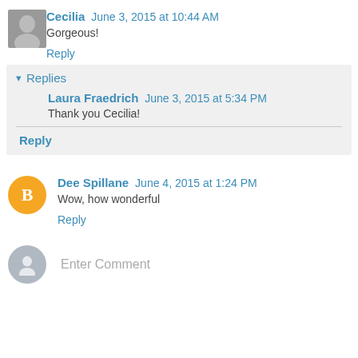Cecilia June 3, 2015 at 10:44 AM
Gorgeous!
Reply
Replies
Laura Fraedrich June 3, 2015 at 5:34 PM
Thank you Cecilia!
Reply
Dee Spillane June 4, 2015 at 1:24 PM
Wow, how wonderful
Reply
Enter Comment